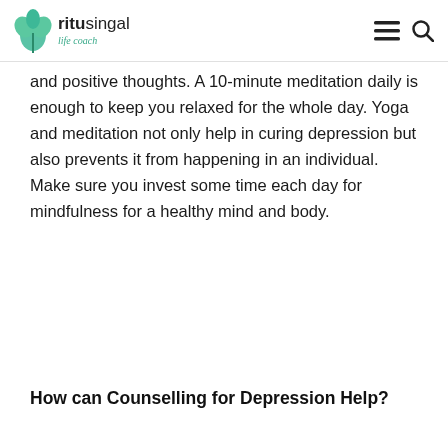ritusingal life coach
and positive thoughts. A 10-minute meditation daily is enough to keep you relaxed for the whole day. Yoga and meditation not only help in curing depression but also prevents it from happening in an individual. Make sure you invest some time each day for mindfulness for a healthy mind and body.
How can Counselling for Depression Help?